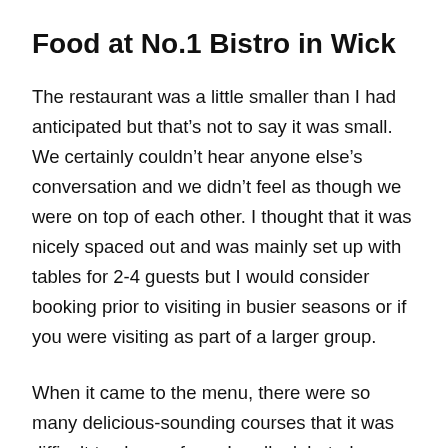Food at No.1 Bistro in Wick
The restaurant was a little smaller than I had anticipated but that’s not to say it was small. We certainly couldn’t hear anyone else’s conversation and we didn’t feel as though we were on top of each other. I thought that it was nicely spaced out and was mainly set up with tables for 2-4 guests but I would consider booking prior to visiting in busier seasons or if you were visiting as part of a larger group.
When it came to the menu, there were so many delicious-sounding courses that it was difficult to choose from. I really debated between quite a few of the options and of course, there was a separate specials menu as well, just to add some more conflict into the mix.